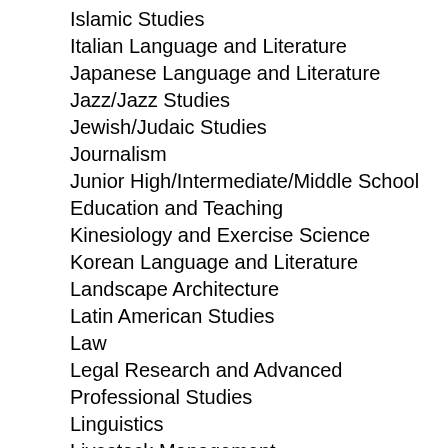Islamic Studies
Italian Language and Literature
Japanese Language and Literature
Jazz/Jazz Studies
Jewish/Judaic Studies
Journalism
Junior High/Intermediate/Middle School Education and Teaching
Kinesiology and Exercise Science
Korean Language and Literature
Landscape Architecture
Latin American Studies
Law
Legal Research and Advanced Professional Studies
Linguistics
Livestock Management
Logistics, Materials, and Supply Chain Management